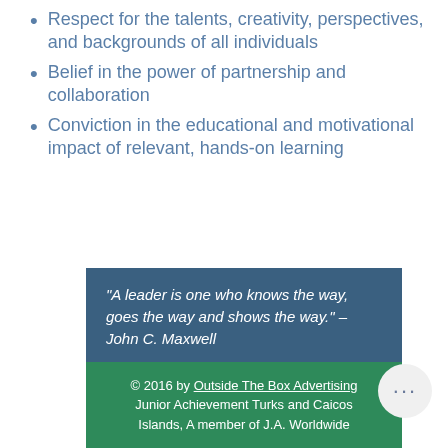Respect for the talents, creativity, perspectives, and backgrounds of all individuals
Belief in the power of partnership and collaboration
Conviction in the educational and motivational impact of relevant, hands-on learning
“A leader is one who knows the way, goes the way and shows the way.” – John C. Maxwell
© 2016 by Outside The Box Advertising Junior Achievement Turks and Caicos Islands, A member of J.A. Worldwide